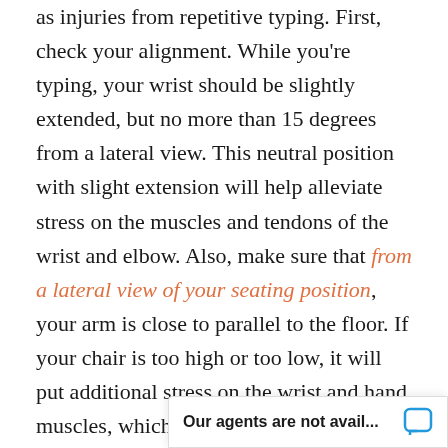as injuries from repetitive typing. First, check your alignment. While you're typing, your wrist should be slightly extended, but no more than 15 degrees from a lateral view. This neutral position with slight extension will help alleviate stress on the muscles and tendons of the wrist and elbow. Also, make sure that from a lateral view of your seating position, your arm is close to parallel to the floor. If your chair is too high or too low, it will put additional stress on the wrist and hand muscles, which can lead to additional degenerative conditions. Sitting upright in a neutral and comfortable position allows you to do your job safely. Second, choose the right keyboard. Ergonomic keyboards are not equal, because people's wrists and arms are different size that feels comfortable
Our agents are not avail...